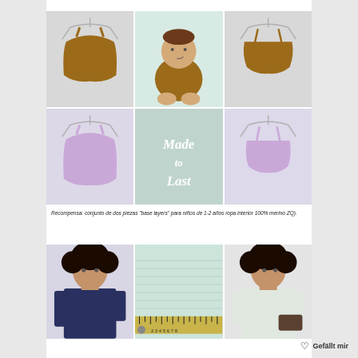[Figure (photo): 3x2 grid of baby clothing photos. Top row: rust-colored romper on hanger, baby wearing rust romper sitting on white blanket, rust-colored bloomers on hanger. Bottom row: lavender romper on hanger, 'Made to Last' text on mint background, lavender bloomers on hanger.]
Recompensa: conjunto de dos piezas "base layers" para niños de 1-2 años ropa interior 100% merino ZQ).
[Figure (photo): Three photos: person wearing dark navy t-shirt, close-up of light blue/mint fabric with ruler, person wearing light gray t-shirt.]
Gefällt mir